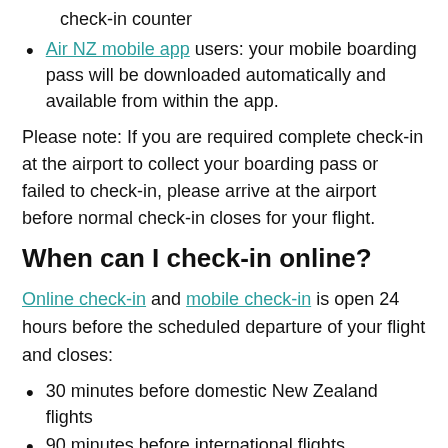check-in counter
Air NZ mobile app users: your mobile boarding pass will be downloaded automatically and available from within the app.
Please note: If you are required complete check-in at the airport to collect your boarding pass or failed to check-in, please arrive at the airport before normal check-in closes for your flight.
When can I check-in online?
Online check-in and mobile check-in is open 24 hours before the scheduled departure of your flight and closes:
30 minutes before domestic New Zealand flights
90 minutes before international flights